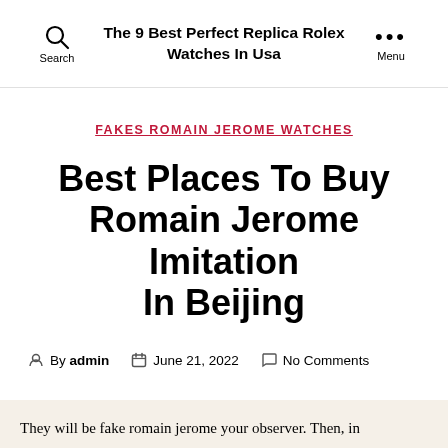The 9 Best Perfect Replica Rolex Watches In Usa
FAKES ROMAIN JEROME WATCHES
Best Places To Buy Romain Jerome Imitation In Beijing
By admin   June 21, 2022   No Comments
They will be fake romain jerome your observer. Then, in